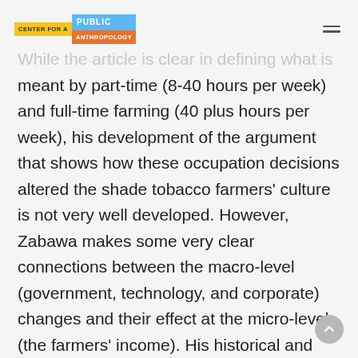CENTER FOR A PUBLIC ANTHROPOLOGY
While the article is clear in defining what is meant by part-time (8-40 hours per week) and full-time farming (40 plus hours per week), his development of the argument that shows how these occupation decisions altered the shade tobacco farmers' culture is not very well developed. However, Zabawa makes some very clear connections between the macro-level (government, technology, and corporate) changes and their effect at the micro-level (the farmers' income). His historical and statistical information supports that macro-level changes had a very significant role in the market collapse.